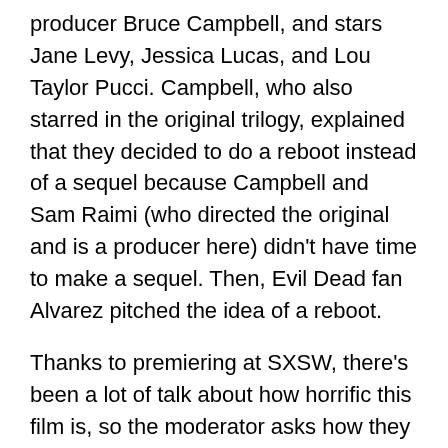producer Bruce Campbell, and stars Jane Levy, Jessica Lucas, and Lou Taylor Pucci. Campbell, who also starred in the original trilogy, explained that they decided to do a reboot instead of a sequel because Campbell and Sam Raimi (who directed the original and is a producer here) didn't have time to make a sequel. Then, Evil Dead fan Alvarez pitched the idea of a reboot.
Thanks to premiering at SXSW, there's been a lot of talk about how horrific this film is, so the moderator asks how they even got it down to an R rating. The MPAA was very helpful, and the tone of the gore made a difference. As Campbell explained, after you watch a torture porn flick, you want to kill yourself, but after this, people are talking. Also, the difference between Evil Dead and torture porn is that Evil Dead always